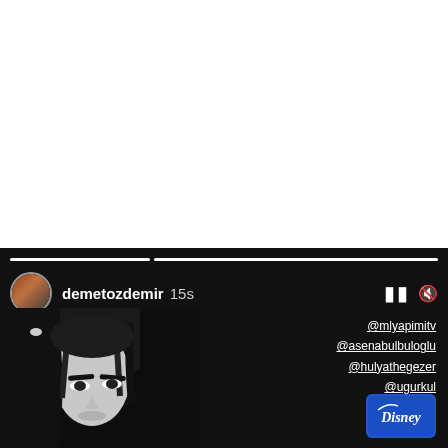[Figure (screenshot): Instagram story screenshot showing demetozdemir's story with profile avatar, username 'demetozdemir', '15s' timer, pause and mute controls, tagged accounts @mlyapimitv, @asenabulbuloglu, @hulyathegezer, @ugurkul, a blue heart emoji, and a Disney+ logo. The background is dark with a close-up black and white photo of a woman's face/hair.]